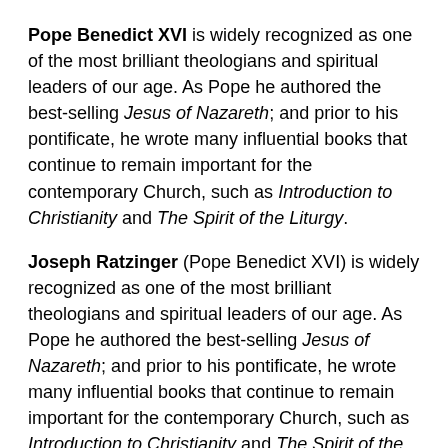Pope Benedict XVI is widely recognized as one of the most brilliant theologians and spiritual leaders of our age. As Pope he authored the best-selling Jesus of Nazareth; and prior to his pontificate, he wrote many influential books that continue to remain important for the contemporary Church, such as Introduction to Christianity and The Spirit of the Liturgy.
Joseph Ratzinger (Pope Benedict XVI) is widely recognized as one of the most brilliant theologians and spiritual leaders of our age. As Pope he authored the best-selling Jesus of Nazareth; and prior to his pontificate, he wrote many influential books that continue to remain important for the contemporary Church, such as Introduction to Christianity and The Spirit of the Liturgy.
Hardcover 2008
Jesus Christ